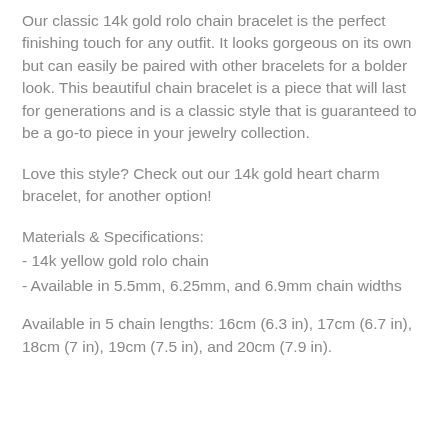Our classic 14k gold rolo chain bracelet is the perfect finishing touch for any outfit. It looks gorgeous on its own but can easily be paired with other bracelets for a bolder look. This beautiful chain bracelet is a piece that will last for generations and is a classic style that is guaranteed to be a go-to piece in your jewelry collection.
Love this style? Check out our 14k gold heart charm bracelet, for another option!
Materials & Specifications:
- 14k yellow gold rolo chain
- Available in 5.5mm, 6.25mm, and 6.9mm chain widths
Available in 5 chain lengths: 16cm (6.3 in), 17cm (6.7 in), 18cm (7 in), 19cm (7.5 in), and 20cm (7.9 in).